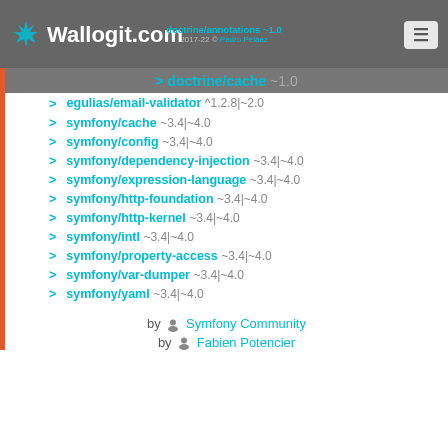Wallogit.com | doctrine/annotations ~1.0 | 2017-22 © Pedro Peláez
doctrine/cache ~1.0
egulias/email-validator ^1.2.8|~2.0
symfony/cache ~3.4|~4.0
symfony/config ~3.4|~4.0
symfony/dependency-injection ~3.4|~4.0
symfony/expression-language ~3.4|~4.0
symfony/http-foundation ~3.4|~4.0
symfony/http-kernel ~3.4|~4.0
symfony/intl ~3.4|~4.0
symfony/property-access ~3.4|~4.0
symfony/var-dumper ~3.4|~4.0
symfony/yaml ~3.4|~4.0
by Symfony Community
by Fabien Potencier